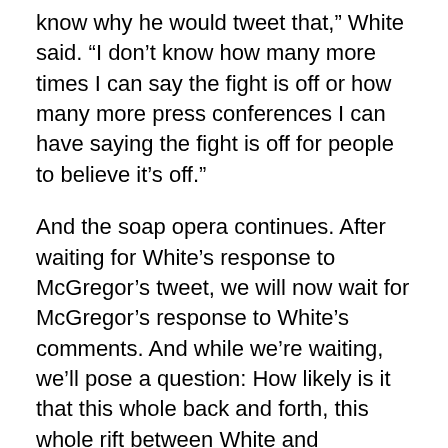know why he would tweet that," White said. "I don't know how many more times I can say the fight is off or how many more press conferences I can have saying the fight is off for people to believe it's off."
And the soap opera continues. After waiting for White's response to McGregor's tweet, we will now wait for McGregor's response to White's comments. And while we're waiting, we'll pose a question: How likely is it that this whole back and forth, this whole rift between White and McGregor, is a well-orchestrated stunt to rev up fans for UFC 200 and turn it into the biggest event in the promotion's history?
The answer to this question could be essentially like...